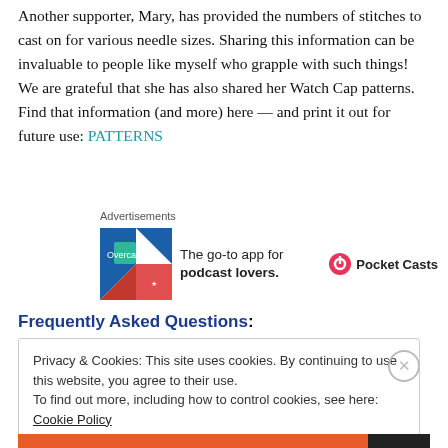Another supporter, Mary, has provided the numbers of stitches to cast on for various needle sizes. Sharing this information can be invaluable to people like myself who grapple with such things! We are grateful that she has also shared her Watch Cap patterns. Find that information (and more) here — and print it out for future use: PATTERNS
[Figure (screenshot): Pocket Casts advertisement: 'The go-to app for podcast lovers.' with app icon and Pocket Casts logo]
Frequently Asked Questions:
Privacy & Cookies: This site uses cookies. By continuing to use this website, you agree to their use.
To find out more, including how to control cookies, see here: Cookie Policy